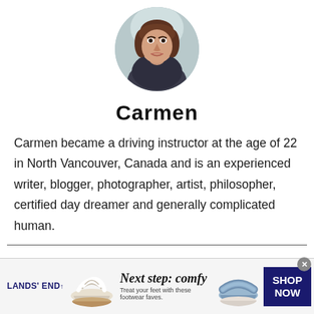[Figure (photo): Circular profile photo of a woman with brown hair, wearing a dark hoodie, against a light background.]
Carmen
Carmen became a driving instructor at the age of 22 in North Vancouver, Canada and is an experienced writer, blogger, photographer, artist, philosopher, certified day dreamer and generally complicated human.
[Figure (infographic): Lands' End advertisement banner: 'Next step: comfy – Treat your feet with these footwear faves.' with shoe images and a SHOP NOW button.]